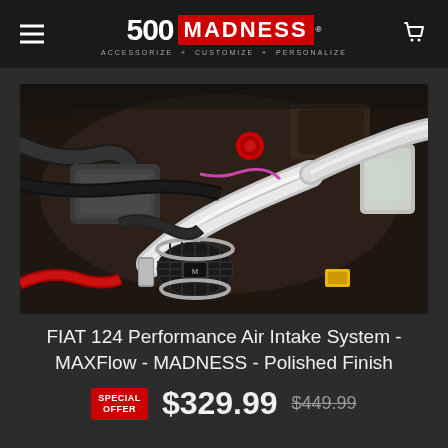500 MADNESS - ACCESSORIZE + CUSTOMIZE + PERSONALIZE
[Figure (photo): Engine bay of a FIAT 124 with a polished performance air intake system installed, showing carbon fiber filter and polished piping among engine components.]
FIAT 124 Performance Air Intake System - MAXFlow - MADNESS - Polished Finish
SPECIAL OFFER $329.99 $449.99